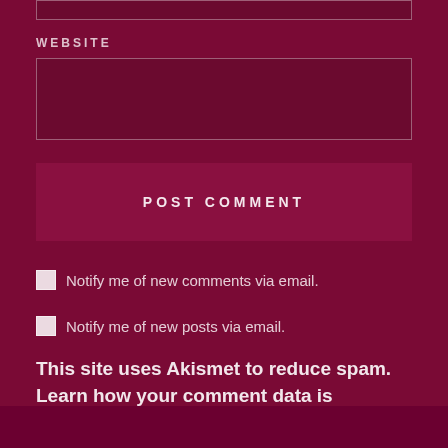WEBSITE
Notify me of new comments via email.
Notify me of new posts via email.
This site uses Akismet to reduce spam. Learn how your comment data is processed.